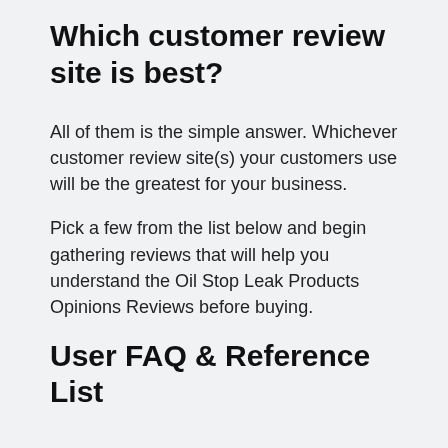Which customer review site is best?
All of them is the simple answer. Whichever customer review site(s) your customers use will be the greatest for your business.
Pick a few from the list below and begin gathering reviews that will help you understand the Oil Stop Leak Products Opinions Reviews before buying.
User FAQ & Reference List